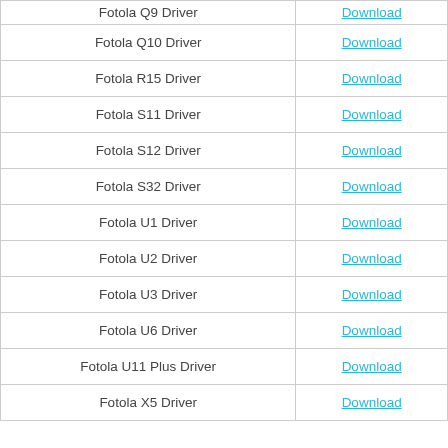| Driver Name | Download |
| --- | --- |
| Fotola Q9 Driver | Download |
| Fotola Q10 Driver | Download |
| Fotola R15 Driver | Download |
| Fotola S11 Driver | Download |
| Fotola S12 Driver | Download |
| Fotola S32 Driver | Download |
| Fotola U1 Driver | Download |
| Fotola U2 Driver | Download |
| Fotola U3 Driver | Download |
| Fotola U6 Driver | Download |
| Fotola U11 Plus Driver | Download |
| Fotola X5 Driver | Download |